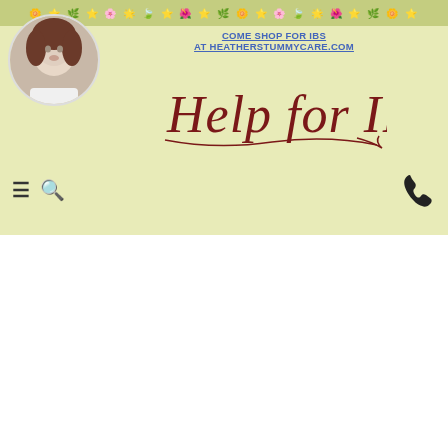COME SHOP FOR IBS AT HEATHERSTUMMYCARE.COM
[Figure (logo): Help for IBS website logo with script font]
and all of you!
Dr. Spice Yamin
05/30/06 11:45 AM
Beth!
atomic rose
05/29/06 06:29 PM
Thank you....
Augie
05/30/06 06:50 AM
Re: Beth!
Little Minnie
05/29/06 06:54 PM